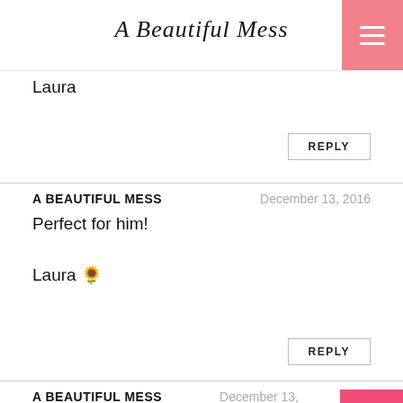A Beautiful Mess
Laura
REPLY
A BEAUTIFUL MESS   December 13, 2016
Perfect for him!

Laura 🌻
REPLY
A BEAUTIFUL MESS   December 13,
Awww, thanks!

Laura
REPLY